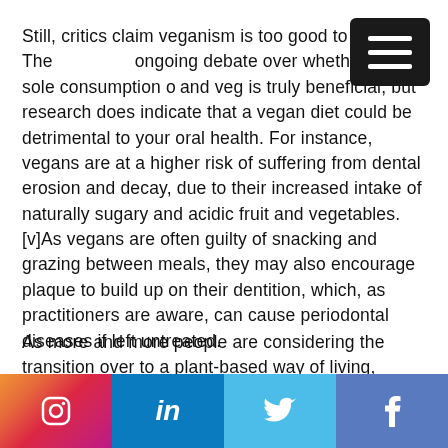Still, critics claim veganism is too good to be true. There is an ongoing debate over whether the sole consumption of fruit and veg is truly beneficial, but research does indicate that a vegan diet could be detrimental to your oral health. For instance, vegans are at a higher risk of suffering from dental erosion and decay, due to their increased intake of naturally sugary and acidic fruit and vegetables.[v]As vegans are often guilty of snacking and grazing between meals, they may also encourage plaque to build up on their dentition, which, as practitioners are aware, can cause periodontal diseases if left untreated.
As more and more people are considering the transition over to a plant-based way of living, dental health is becoming a key
[Figure (other): Social media bar with Instagram, LinkedIn, Twitter, and Facebook icons on dark background]